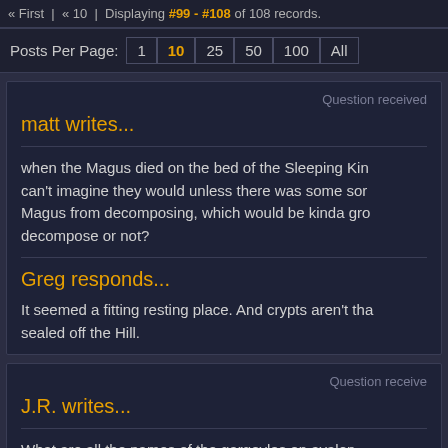« First  « 10  Displaying #99 - #108 of 108 records.
Posts Per Page: 1  10  25  50  100  All
Question received
matt writes...
when the Magus died on the bed of the Sleeping Kin... can't imagine they would unless there was some sor... Magus from decomposing, which would be kinda gro... decompose or not?
Greg responds...
It seemed a fitting resting place. And crypts aren't tha... sealed off the Hill.
Question receive
J.R. writes...
What are all the names of the gargoyles on avalon...